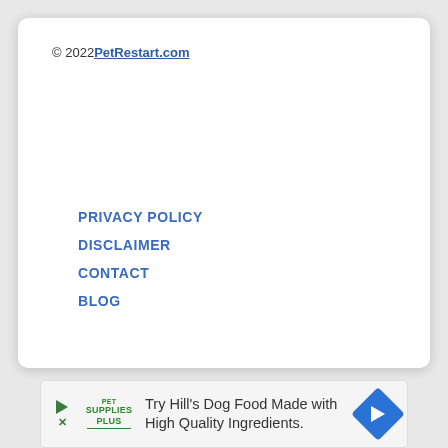© 2022 PetRestart.com
PRIVACY POLICY
DISCLAIMER
CONTACT
BLOG
[Figure (infographic): Advertisement banner: Try Hill's Dog Food Made with High Quality Ingredients.]